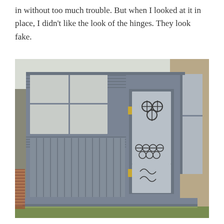in without too much trouble. But when I looked at it in place, I didn't like the look of the hinges. They look fake.
[Figure (photo): A miniature dollhouse porch/sunroom structure painted in grey-blue color, showing siding panels, windows, a decorative screen door with ornate metalwork and a gold hinge, and the base sitting on small brick pillars on grass.]